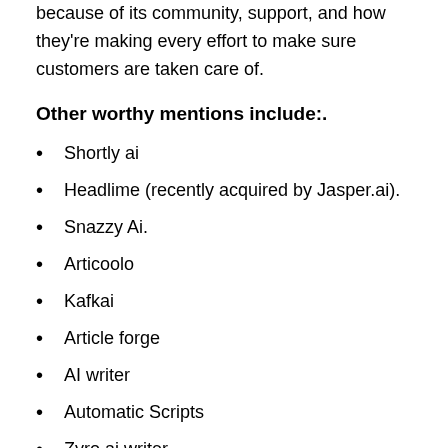because of its community, support, and how they're making every effort to make sure customers are taken care of.
Other worthy mentions include:.
Shortly ai
Headlime (recently acquired by Jasper.ai).
Snazzy Ai.
Articoolo
Kafkai
Article forge
AI writer
Automatic Scripts
Zyro ai writer